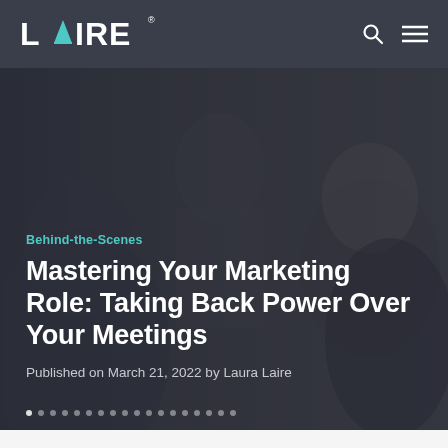LAIRE
[Figure (photo): Background photo of people in a meeting/office setting, two women visible, semi-dark overlay applied]
Behind-the-Scenes
Mastering Your Marketing Role: Taking Back Power Over Your Meetings
Published on March 21, 2022 by Laura Laire